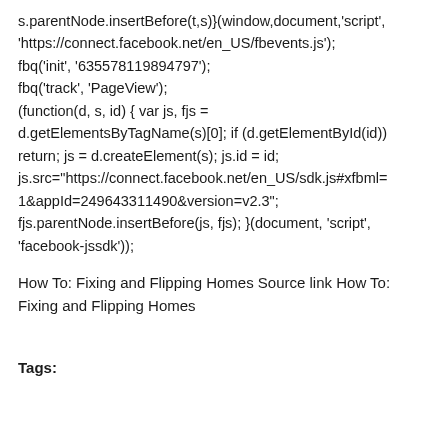s.parentNode.insertBefore(t,s)}(window,document,'script', 'https://connect.facebook.net/en_US/fbevents.js'); fbq('init', '635578119894797'); fbq('track', 'PageView'); (function(d, s, id) { var js, fjs = d.getElementsByTagName(s)[0]; if (d.getElementById(id)) return; js = d.createElement(s); js.id = id; js.src="https://connect.facebook.net/en_US/sdk.js#xfbml=1&appId=249643311490&version=v2.3"; fjs.parentNode.insertBefore(js, fjs); }(document, 'script', 'facebook-jssdk'));
How To: Fixing and Flipping Homes Source link How To: Fixing and Flipping Homes
Tags: